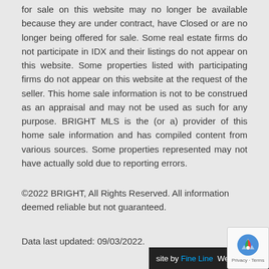for sale on this website may no longer be available because they are under contract, have Closed or are no longer being offered for sale. Some real estate firms do not participate in IDX and their listings do not appear on this website. Some properties listed with participating firms do not appear on this website at the request of the seller. This home sale information is not to be construed as an appraisal and may not be used as such for any purpose. BRIGHT MLS is the (or a) provider of this home sale information and has compiled content from various sources. Some properties represented may not have actually sold due to reporting errors.
©2022 BRIGHT, All Rights Reserved. All information deemed reliable but not guaranteed.
Data last updated: 09/03/2022.
site by Fine Line We